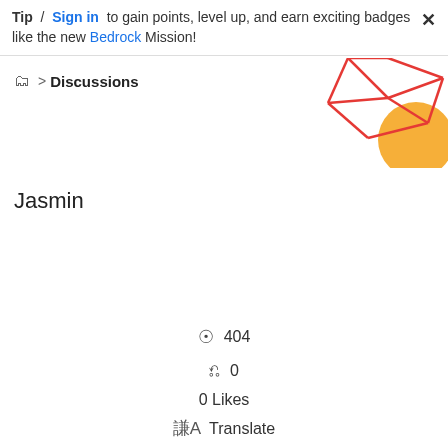Tip / Sign in to gain points, level up, and earn exciting badges like the new Bedrock Mission!
Discussions
[Figure (illustration): Decorative geometric red line network with orange circle graphic in top-right corner]
Jasmin
404 views
0 replies
0 Likes
Translate
Reply
Jasmin_Charbonn Level 10
27-01-2009 06:46 PST
Yeah, I got the same results here. This is s bug.